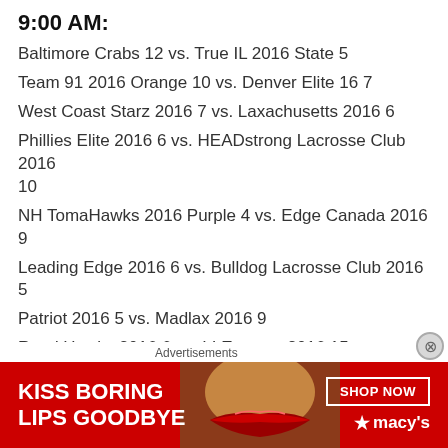9:00 AM:
Baltimore Crabs 12 vs. True IL 2016 State 5
Team 91 2016 Orange 10 vs. Denver Elite 16 7
West Coast Starz 2016 7 vs. Laxachusetts 2016 6
Phillies Elite 2016 6 vs. HEADstrong Lacrosse Club 2016 10
NH TomaHawks 2016 Purple 4 vs. Edge Canada 2016 9
Leading Edge 2016 6 vs. Bulldog Lacrosse Club 2016 5
Patriot 2016 5 vs. Madlax 2016 9
Road Hawks 2016 6 vs. LI Express 2016 15
10:00 AM:
Baltimore Crabs 2014 15 vs. Edge Canada 2014 4
Denver Elite 2014 4 vs. Phillie Elite 2014 5
[Figure (photo): Macy's advertisement: Kiss Boring Lips Goodbye - Shop Now banner with red lips image]